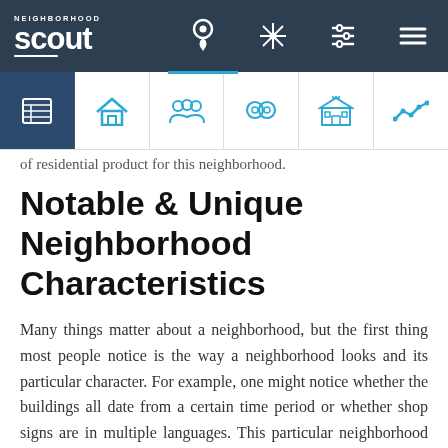Neighborhood Scout - navigation header
of residential product for this neighborhood.
Notable & Unique Neighborhood Characteristics
Many things matter about a neighborhood, but the first thing most people notice is the way a neighborhood looks and its particular character. For example, one might notice whether the buildings all date from a certain time period or whether shop signs are in multiple languages. This particular neighborhood in Redlands, the Ordway